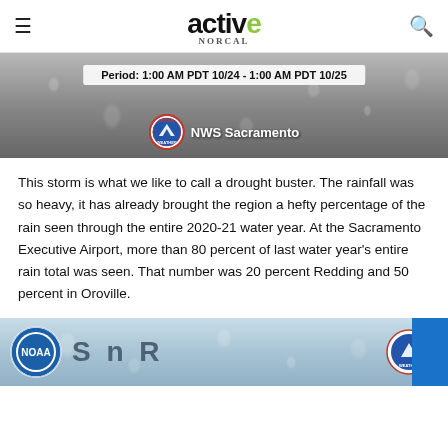active NORCAL
[Figure (photo): Rainy weather background image with NWS Sacramento badge and period bar reading 'Period: 1:00 AM PDT 10/24 - 1:00 AM PDT 10/25']
This storm is what we like to call a drought buster. The rainfall was so heavy, it has already brought the region a hefty percentage of the rain seen through the entire 2020-21 water year. At the Sacramento Executive Airport, more than 80 percent of last water year's entire rain total was seen. That number was 20 percent Redding and 50 percent in Oroville.
[Figure (photo): Rainy weather background image with NOAA and NWS logos, large stylized text, and blue bar on right edge]